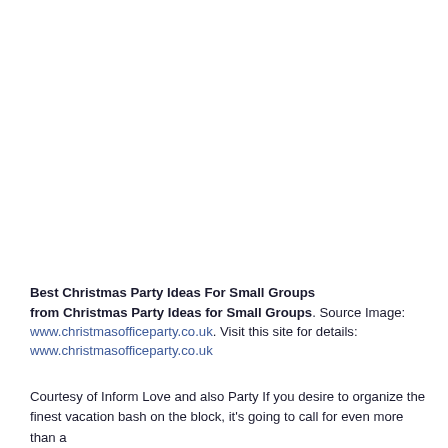Best Christmas Party Ideas For Small Groups from Christmas Party Ideas for Small Groups. Source Image: www.christmasofficeparty.co.uk. Visit this site for details: www.christmasofficeparty.co.uk
Courtesy of Inform Love and also Party If you desire to organize the finest vacation bash on the block, it's going to call for even more than a